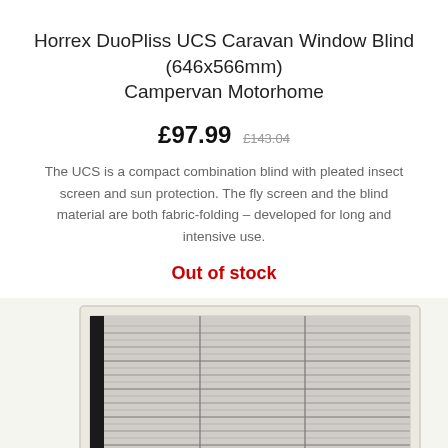Horrex DuoPliss UCS Caravan Window Blind (646x566mm) Campervan Motorhome
£97.99  £143.04
The UCS is a compact combination blind with pleated insect screen and sun protection. The fly screen and the blind material are both fabric-folding – developed for long and intensive use.
Out of stock
[Figure (photo): Product photo of a Horrex DuoPliss UCS caravan window blind installed in a white frame, showing horizontal pleated fabric material in grey/black tones with a central handle mechanism.]